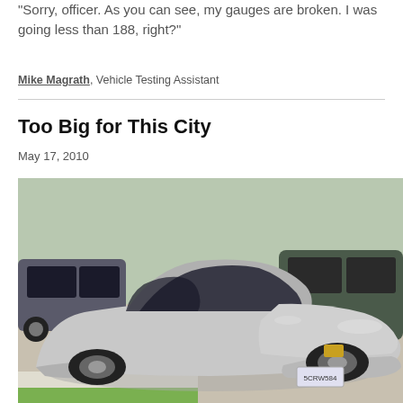"Sorry, officer. As you can see, my gauges are broken. I was going less than 188, right?"
Mike Magrath, Vehicle Testing Assistant
Too Big for This City
May 17, 2010
[Figure (photo): Silver Chevrolet Corvette coupe parked on a city street, with other cars visible in the background including a dark SUV. The Corvette has a license plate reading 5CRW584. Green grass and a sidewalk are visible in the foreground.]